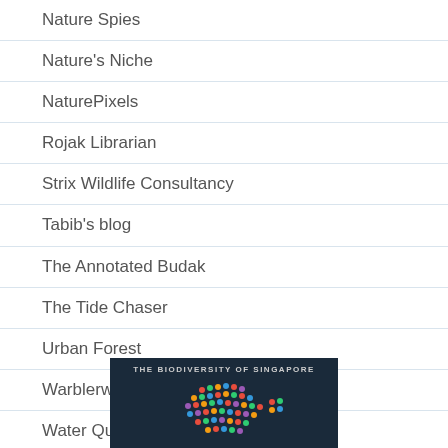Nature Spies
Nature's Niche
NaturePixels
Rojak Librarian
Strix Wildlife Consultancy
Tabib's blog
The Annotated Budak
The Tide Chaser
Urban Forest
Warblerwatch Blog
Water Quality Singapore
WildSingapore
[Figure (illustration): Dark background image with colorful dots in the shape of Singapore map, with text 'THE BIODIVERSITY OF SINGAPORE' at the top]